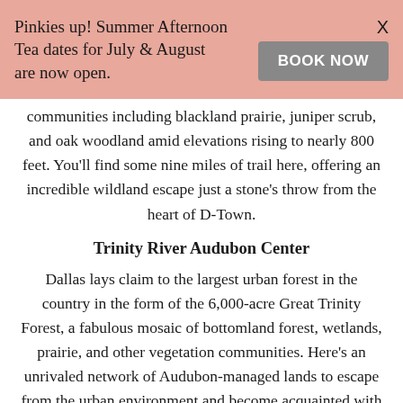Pinkies up! Summer Afternoon Tea dates for July & August are now open.
BOOK NOW
communities including blackland prairie, juniper scrub, and oak woodland amid elevations rising to nearly 800 feet. You'll find some nine miles of trail here, offering an incredible wildland escape just a stone's throw from the heart of D-Town.
Trinity River Audubon Center
Dallas lays claim to the largest urban forest in the country in the form of the 6,000-acre Great Trinity Forest, a fabulous mosaic of bottomland forest, wetlands, prairie, and other vegetation communities. Here's an unrivaled network of Audubon-managed lands to escape from the urban environment and become acquainted with the